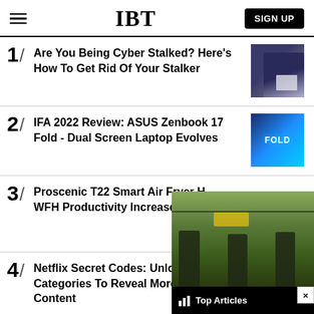IBT
1/ Are You Being Cyber Stalked? Here's How To Get Rid Of Your Stalker
2/ IFA 2022 Review: ASUS Zenbook 17 Fold - Dual Screen Laptop Evolves
3/ Proscenic T22 Smart Air Fryer H... WFH Productivity Increased fro...
[Figure (screenshot): Popup overlay showing soldiers walking, with 'Top Articles' label and close button]
4/ Netflix Secret Codes: Unlock Hidden Categories To Reveal More Binegable Content